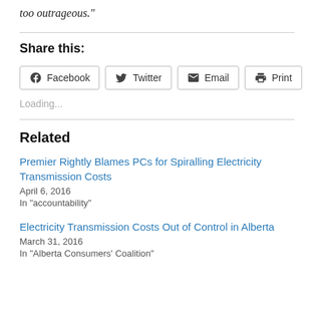too outrageous."
Share this:
Facebook  Twitter  Email  Print
Loading...
Related
Premier Rightly Blames PCs for Spiralling Electricity Transmission Costs
April 6, 2016
In "accountability"
Electricity Transmission Costs Out of Control in Alberta
March 31, 2016
In "Alberta Consumers' Coalition"